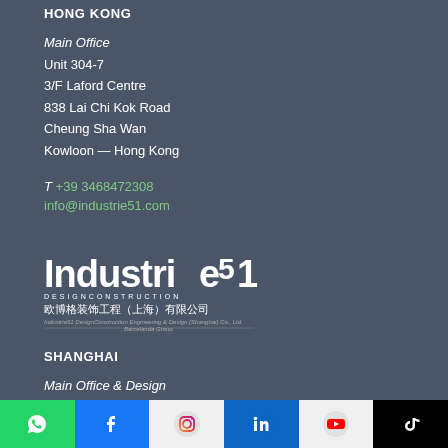HONG KONG
Main Office
Unit 304-7
3/F Laford Centre
838 Lai Chi Kok Road
Cheung Sha Wan
Kowloon — Hong Kong
T +39 3468472308
info@industrie51.com
[Figure (logo): Industrie51 Design Construction logo with Chinese characters and Barcelanda Group tagline]
SHANGHAI
Main Office & Design
Room A1/D2, 25F, Hi-Tech Kingworld (East Building)
[Figure (infographic): Social media icon bar: WhatsApp (green), Facebook (blue), Instagram (white/gradient), LinkedIn (blue), YouTube (white/red), TikTok (black)]